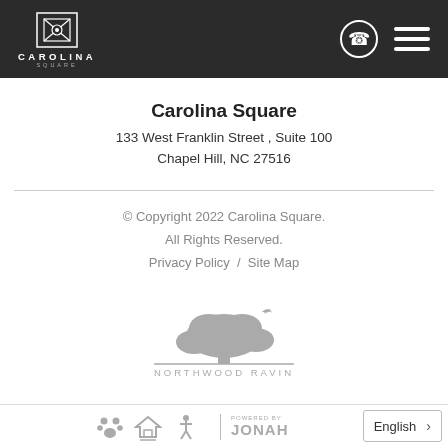Carolina Square — header navigation bar with logo, phone icon, and menu icon
Carolina Square
133 West Franklin Street , Suite 100
Chapel Hill, NC 27516
© Copyright 2022 Carolina Square.
All Rights Reserved.
Privacy Policy  /  Site Map
[Figure (logo): Northwood Ravin company logo — tree with bird silhouette above a horizontal line, with text NORTHWOOD RAVIN below]
Pet-friendly icon, Equal Housing icon, Accessibility icon | Powered by JONAH | English >